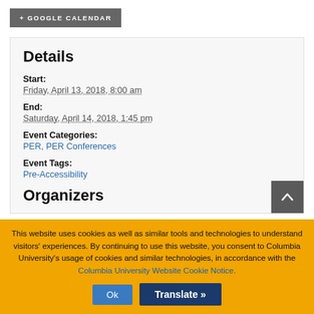+ GOOGLE CALENDAR
Details
Start:
Friday, April 13, 2018, 8:00 am
End:
Saturday, April 14, 2018, 1:45 pm
Event Categories:
PER, PER Conferences
Event Tags:
Pre-Accessibility
Organizers
This website uses cookies as well as similar tools and technologies to understand visitors' experiences. By continuing to use this website, you consent to Columbia University's usage of cookies and similar technologies, in accordance with the Columbia University Website Cookie Notice.